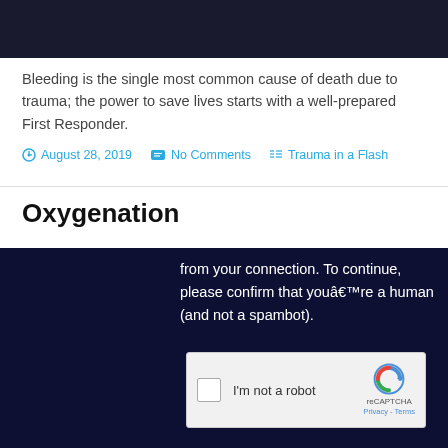[Figure (other): Dark navy banner bar at top of page]
Bleeding is the single most common cause of death due to trauma; the power to save lives starts with a well-prepared First Responder.
August 28, 2019   No Comments   Trauma in a Flash
Oxygenation
from your connection. To continue, please confirm that youâ€™re a human (and not a spambot).
[Figure (screenshot): reCAPTCHA widget with checkbox labeled I'm not a robot and reCAPTCHA Privacy - Terms branding]